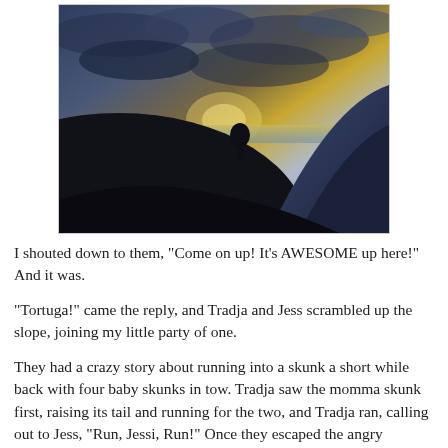[Figure (photo): Outdoor sunset/dusk photo taken from a hillside or slope. The scene shows a dramatic sky with golden light breaking through dark clouds. The foreground includes dark silhouettes of a hillside with trees on the left and what appears to be a tent or curved slope on the right. There is a visible horizon with water or open landscape in the middle distance.]
I shouted down to them, "Come on up! It's AWESOME up here!" And it was.
"Tortuga!" came the reply, and Tradja and Jess scrambled up the slope, joining my little party of one.
They had a crazy story about running into a skunk a short while back with four baby skunks in tow. Tradja saw the momma skunk first, raising its tail and running for the two, and Tradja ran, calling out to Jess, "Run, Jessi, Run!" Once they escaped the angry momma, they crept up closer again